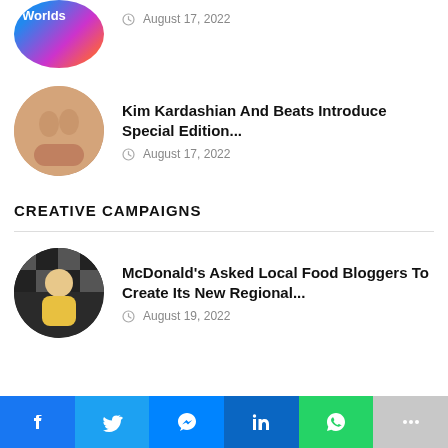[Figure (photo): Partial circular thumbnail of a colorful gaming/worlds themed image with 'Worlds' text overlay]
August 17, 2022
[Figure (photo): Circular thumbnail showing Kim Kardashian Beats earbuds in skin-tone color with case]
Kim Kardashian And Beats Introduce Special Edition...
August 17, 2022
CREATIVE CAMPAIGNS
[Figure (photo): Circular thumbnail of a young woman with food items, McDonald's themed]
McDonald's Asked Local Food Bloggers To Create Its New Regional...
August 19, 2022